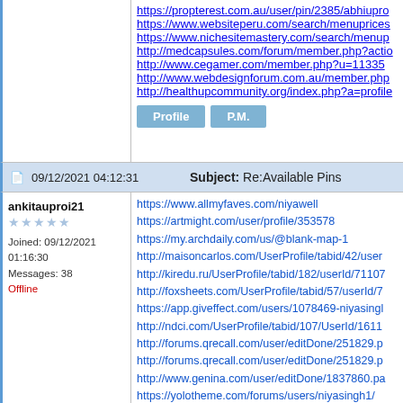https://propterest.com.au/user/pin/2385/abhiupro
https://www.websiteperu.com/search/menuprices
https://www.nichesitemastery.com/search/menup
http://medcapsules.com/forum/member.php?actio
http://www.cegamer.com/member.php?u=11335
http://www.webdesignforum.com.au/member.php
http://healthupcommunity.org/index.php?a=profile
Profile  P.M.
09/12/2021 04:12:31   Subject: Re:Available Pins
ankitauproi21
Joined: 09/12/2021 01:16:30
Messages: 38
Offline
https://www.allmyfaves.com/niyawell
https://artmight.com/user/profile/353578
https://my.archdaily.com/us/@blank-map-1
http://maisoncarlos.com/UserProfile/tabid/42/user
http://kiredu.ru/UserProfile/tabid/182/userId/71107
http://foxsheets.com/UserProfile/tabid/57/userId/7
https://app.giveffect.com/users/1078469-niyasingl
http://ndci.com/UserProfile/tabid/107/UserId/1611
http://forums.qrecall.com/user/editDone/251829.p
http://forums.qrecall.com/user/editDone/251829.p
http://www.genina.com/user/editDone/1837860.pa
https://yolotheme.com/forums/users/niyasingh1/
https://niyasingh1.dreamwidth.org/profile